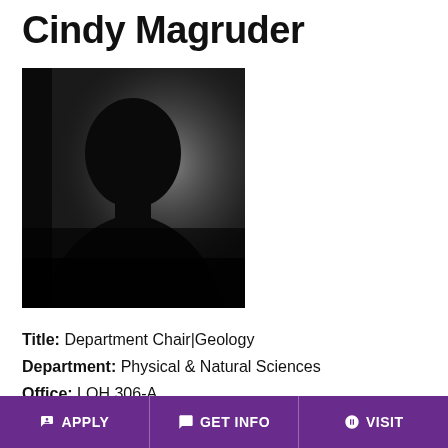Cindy Magruder
[Figure (photo): Silhouette headshot photo of a person against a light background, mostly dark/black tones]
Title: Department Chair|Geology
Department: Physical & Natural Sciences
Office: LOH 306-A
APPLY   GET INFO   VISIT